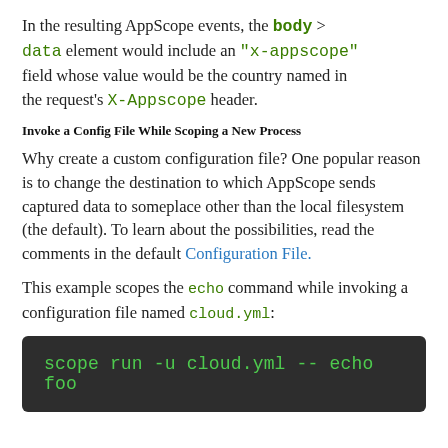In the resulting AppScope events, the body > data element would include an "x-appscope" field whose value would be the country named in the request's X-Appscope header.
Invoke a Config File While Scoping a New Process
Why create a custom configuration file? One popular reason is to change the destination to which AppScope sends captured data to someplace other than the local filesystem (the default). To learn about the possibilities, read the comments in the default Configuration File.
This example scopes the echo command while invoking a configuration file named cloud.yml:
[Figure (screenshot): Dark terminal code block showing: scope run -u cloud.yml -- echo foo]